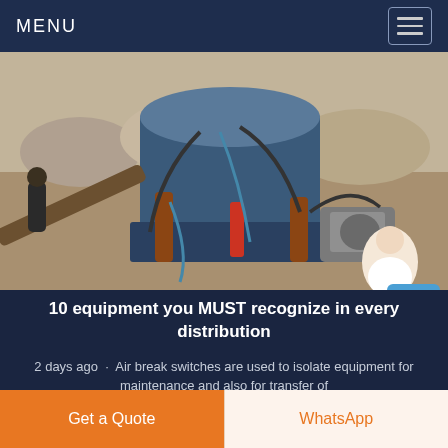MENU
[Figure (photo): Industrial mining/crushing equipment outdoors — a large blue cone crusher or similar machine with hydraulic hoses, cylinders, motors, and a worker visible in the background among gravel/rock debris.]
10 equipment you MUST recognize in every distribution
2 days ago · Air break switches are used to isolate equipment for maintenance and also for transfer of
Get a Quote
WhatsApp